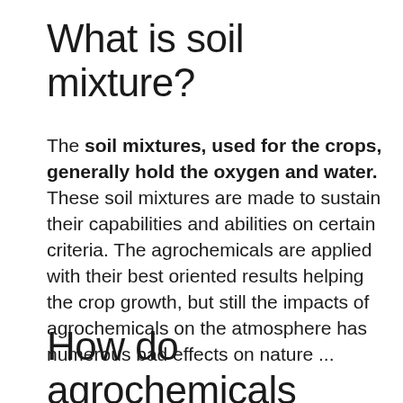What is soil mixture?
The soil mixtures, used for the crops, generally hold the oxygen and water. These soil mixtures are made to sustain their capabilities and abilities on certain criteria. The agrochemicals are applied with their best oriented results helping the crop growth, but still the impacts of agrochemicals on the atmosphere has numerous bad effects on nature ...
How do agrochemicals affect